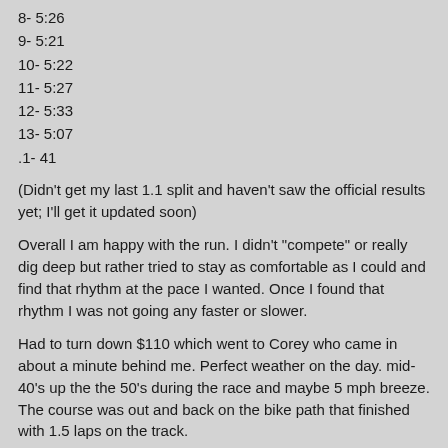8- 5:26
9- 5:21
10- 5:22
11- 5:27
12- 5:33
13- 5:07
.1- 41
(Didn't get my last 1.1 split and haven't saw the official results yet; I'll get it updated soon)
Overall I am happy with the run. I didn't "compete" or really dig deep but rather tried to stay as comfortable as I could and find that rhythm at the pace I wanted. Once I found that rhythm I was not going any faster or slower.
Had to turn down $110 which went to Corey who came in about a minute behind me. Perfect weather on the day. mid-40's up the the 50's during the race and maybe 5 mph breeze. The course was out and back on the bike path that finished with 1.5 laps on the track.